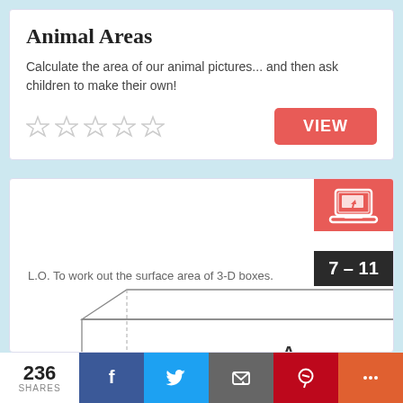Animal Areas
Calculate the area of our animal pictures... and then ask children to make their own!
[Figure (other): Five empty star rating icons in a row]
[Figure (screenshot): Educational worksheet preview showing a 3D box diagram labelled A with Height = 6cm and Breadth = 4cm, with text 'L.O. To work out the surface area of 3-D boxes.' and a laptop icon badge with age range 7-11]
236 SHARES
[Figure (infographic): Social share bar with Facebook, Twitter, Email, Pinterest, and More buttons]